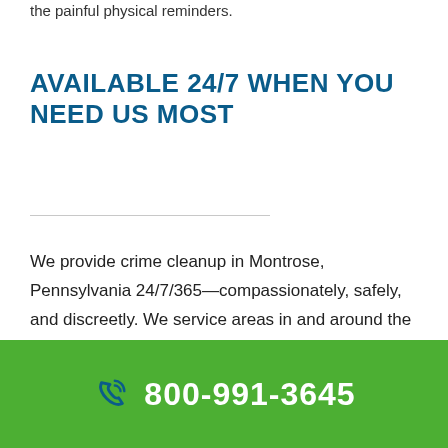the painful physical reminders.
AVAILABLE 24/7 WHEN YOU NEED US MOST
We provide crime cleanup in Montrose, Pennsylvania 24/7/365—compassionately, safely, and discreetly. We service areas in and around the zip codes 18801,
800-991-3645